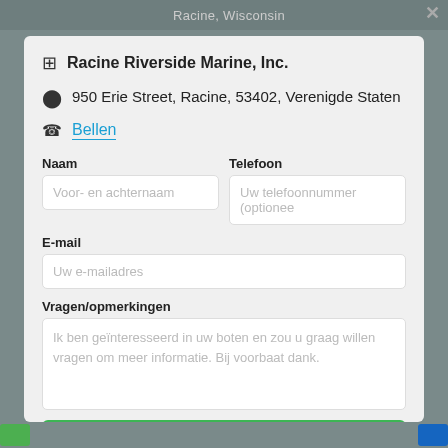Racine, Wisconsin
Racine Riverside Marine, Inc.
950 Erie Street, Racine, 53402, Verenigde Staten
Bellen
Naam
Voor- en achternaam
Telefoon
Uw telefoonnummer (optionee
E-mail
Uw e-mailadres
Vragen/opmerkingen
Ik ben geïnteresseerd in uw boten en zou u graag willen vragen om meer informatie. Bij voorbaat dank.
Verstuur e-mail